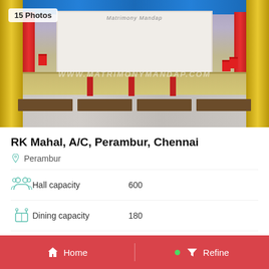[Figure (photo): Wedding hall interior showing decorated stage with gold pillars, blue drapes, red curtains and white backdrop. Floor has wooden tables arranged in rows. Watermark text reads WWW.MATRIMONYMANDAP.COM]
15 Photos
RK Mahal,  A/C, Perambur, Chennai
Perambur
Hall capacity    600
Dining capacity    180
Food type    Veg & Non-Veg
Home    Refine